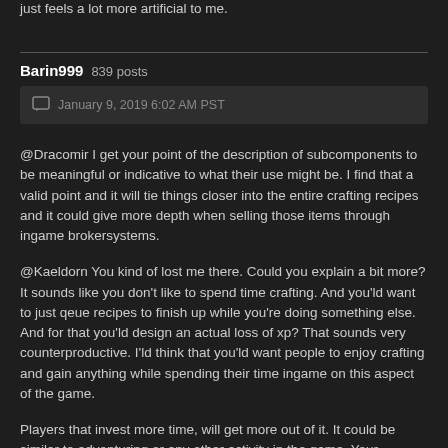just feels a lot more artificial to me.
Barin999  839 posts
January 9, 2019 6:02 AM PST
@Dracomir I get your point of the description of subcomponents to be meaningful or indicative to what their use might be. I find that a valid point and it will tie things closer into the entire crafting recipes and it could give more depth when selling those items through ingame brokersystems.
@Kaeldorn You kind of lost me there. Could you explain a bit more? It sounds like you don't like to spend time crafting. And you'ld want to just qeue recipes to finish up while you're doing something else. And for that you'ld design an actual loss of xp? That sounds very counterproductive. I'ld think that you'ld want people to enjoy crafting and gain anything while spending their time ingame on this aspect of the game.
Players that invest more time, will get more out of it. It could be similar to adventuring or any other activity in the game. Your character will advance in some sort or fashion.